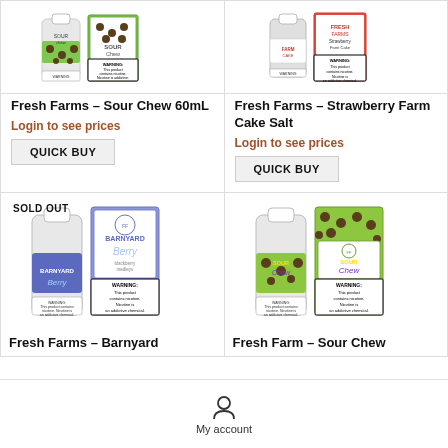[Figure (photo): Fresh Farms Sour Chew 60mL e-liquid bottle and box with green polka dot design and warning label]
Fresh Farms – Sour Chew 60mL
Login to see prices
QUICK BUY
[Figure (photo): Fresh Farms Strawberry Farm Cake Salt e-liquid bottle and red/white box with warning label]
Fresh Farms – Strawberry Farm Cake Salt
Login to see prices
QUICK BUY
[Figure (photo): Fresh Farms Barnyard Berry salt nicotine e-liquid bottle and blue box with warning label. SOLD OUT badge visible.]
Fresh Farms – Barnyard
[Figure (photo): Fresh Farm Sour Chew salt nicotine e-liquid bottle and green polka dot box with warning label]
Fresh Farm – Sour Chew
My account